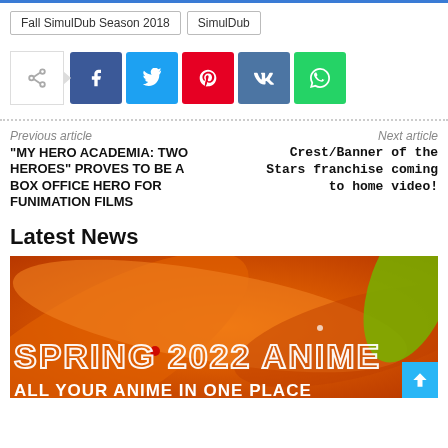Fall SimulDub Season 2018
SimulDub
[Figure (infographic): Social share buttons row: share icon box with arrow, then Facebook (blue), Twitter (cyan), Pinterest (red), VK (dark blue), WhatsApp (green) buttons]
Previous article
Next article
"MY HERO ACADEMIA: TWO HEROES" PROVES TO BE A BOX OFFICE HERO FOR FUNIMATION FILMS
Crest/Banner of the Stars franchise coming to home video!
Latest News
[Figure (photo): Orange and red swirling abstract anime background image with white outlined text reading 'SPRING 2022 ANIME' and below 'ALL YOUR ANIME IN ONE PLACE']